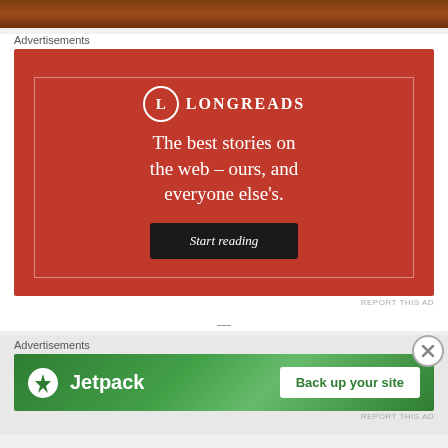[Figure (photo): Top partial image strip showing a brownish/reddish gradient, cropped at top of page]
Advertisements
[Figure (infographic): Longreads advertisement on red background. Circle logo with L, LONGREADS brand name, tagline: The best stories on the web – ours, and everyone else's. Black button: Start reading.]
REPORT THIS AD
—
Advertisements
[Figure (infographic): Jetpack advertisement on green gradient background. White circle with lightning bolt logo, Jetpack text, and white button: Back up your site.]
REPORT THIS AD